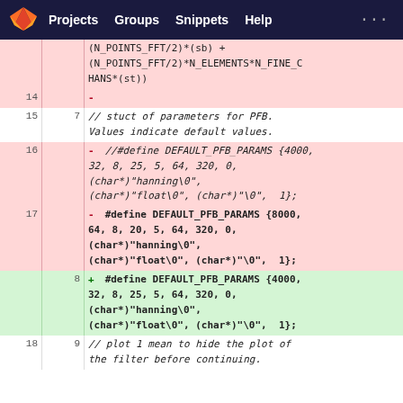GitLab navigation: Projects, Groups, Snippets, Help
[Figure (screenshot): Git diff view showing code changes in a source file. Lines 14-18 shown with old/new line numbers and highlighted additions/deletions in a dark-navy themed GitLab interface.]